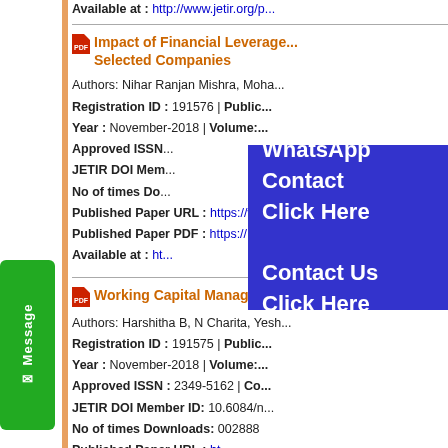Available at : http://www.jetir.org/p...
Impact of Financial Leverage ... Selected Companies
Authors: Nihar Ranjan Mishra, Moha...
Registration ID : 191576 | Public...
Year : November-2018 | Volume:...
Approved ISSN...
JETIR DOI Mem...
No of times Do...
Published Paper URL : https://ww...
Published Paper PDF : https://...
Available at : ht...
Working Capital Management...
Authors: Harshitha B, N Charita, Yesh...
Registration ID : 191575 | Public...
Year : November-2018 | Volume:...
Approved ISSN : 2349-5162 | Co...
JETIR DOI Member ID: 10.6084/n...
No of times Downloads: 002888
Published Paper URL : ht...